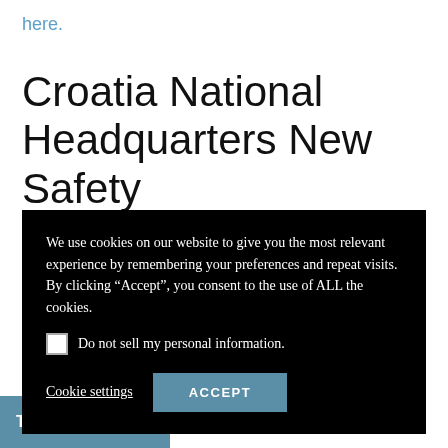here.
Croatia National Headquarters New Safety
We use cookies on our website to give you the most relevant experience by remembering your preferences and repeat visits. By clicking “Accept”, you consent to the use of ALL the cookies.
☐ Do not sell my personal information.

Cookie settings   ACCEPT
capacities prescribed by Civil Protection Headquarters. All events and gatherings with more than 25 people are prohibited, funerals included.
Translate »  overnment restrictions from